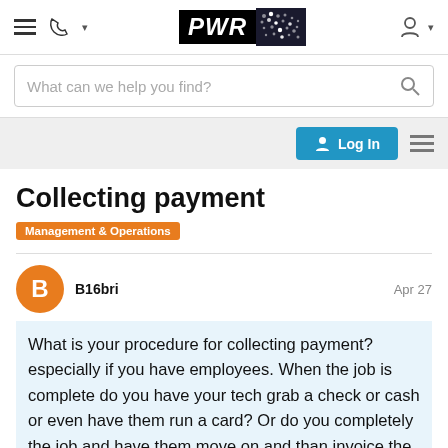[Figure (logo): PWR logo with black text block and dark dotted panel on the right]
What can we help you find?
Log In
Collecting payment
Management & Operations
B16bri
Apr 27
What is your procedure for collecting payment? especially if you have employees. When the job is complete do you have your tech grab a check or cash or even have them run a card? Or do you completely the job and have them move on and than invoice the customer which they can pay by card or ma getting paid at the completion of the job so
1 / 4